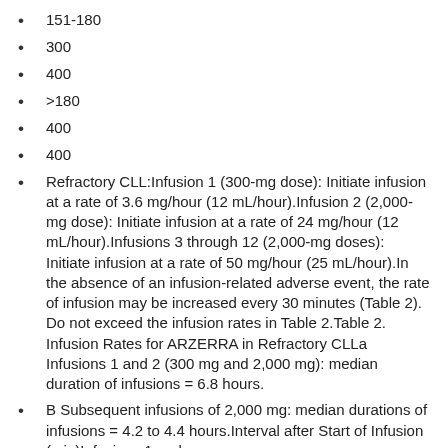151-180
300
400
>180
400
400
Refractory CLL:Infusion 1 (300-mg dose): Initiate infusion at a rate of 3.6 mg/hour (12 mL/hour).Infusion 2 (2,000-mg dose): Initiate infusion at a rate of 24 mg/hour (12 mL/hour).Infusions 3 through 12 (2,000-mg doses): Initiate infusion at a rate of 50 mg/hour (25 mL/hour).In the absence of an infusion-related adverse event, the rate of infusion may be increased every 30 minutes (Table 2). Do not exceed the infusion rates in Table 2.Table 2. Infusion Rates for ARZERRA in Refractory CLLa Infusions 1 and 2 (300 mg and 2,000 mg): median duration of infusions = 6.8 hours.
B Subsequent infusions of 2,000 mg: median durations of infusions = 4.2 to 4.4 hours.Interval after Start of Infusion (min)Infusions 1 and 2 (mL/hour)Subsequent infusions (mL/hour)2